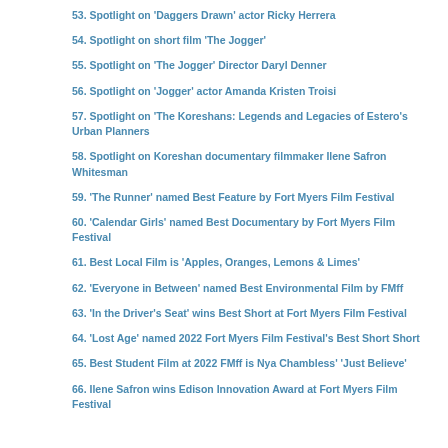53. Spotlight on 'Daggers Drawn' actor Ricky Herrera
54. Spotlight on short film 'The Jogger'
55. Spotlight on 'The Jogger' Director Daryl Denner
56. Spotlight on 'Jogger' actor Amanda Kristen Troisi
57. Spotlight on 'The Koreshans: Legends and Legacies of Estero's Urban Planners
58. Spotlight on Koreshan documentary filmmaker Ilene Safron Whitesman
59. 'The Runner' named Best Feature by Fort Myers Film Festival
60. 'Calendar Girls' named Best Documentary by Fort Myers Film Festival
61. Best Local Film is 'Apples, Oranges, Lemons & Limes'
62. 'Everyone in Between' named Best Environmental Film by FMff
63. 'In the Driver's Seat' wins Best Short at Fort Myers Film Festival
64. 'Lost Age' named 2022 Fort Myers Film Festival's Best Short Short
65. Best Student Film at 2022 FMff is Nya Chambless' 'Just Believe'
66. Ilene Safron wins Edison Innovation Award at Fort Myers Film Festival